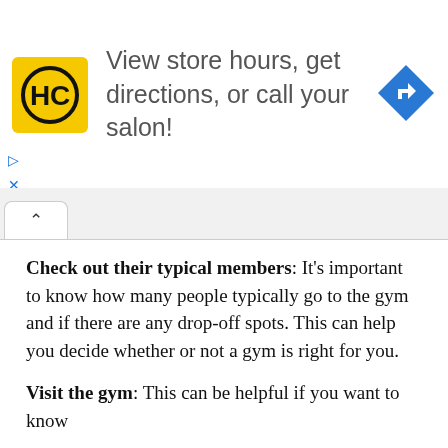[Figure (infographic): Advertisement banner for HC (Hair Club) salon with yellow logo, text 'View store hours, get directions, or call your salon!', and a blue direction arrow icon on the right.]
Check out their typical members: It's important to know how many people typically go to the gym and if there are any drop-off spots. This can help you decide whether or not a gym is right for you.
Visit the gym: This can be helpful if you want to know